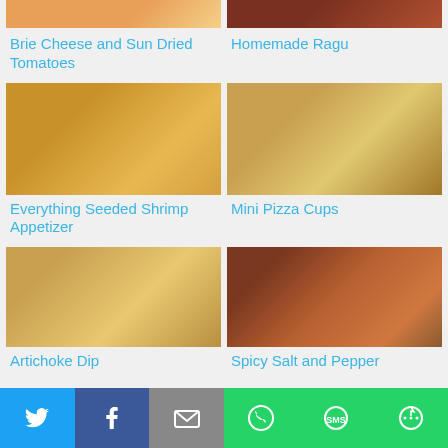[Figure (photo): Partial top image of Brie Cheese and Sun Dried Tomatoes dish]
[Figure (photo): Partial top image of Homemade Ragu dish]
Brie Cheese and Sun Dried Tomatoes
Homemade Ragu
[Figure (photo): Everything Seeded Shrimp Appetizer - golden shrimp covered in seeds]
[Figure (photo): Mini Pizza Cups - wonton cups with olives]
Everything Seeded Shrimp Appetizer
Mini Pizza Cups
[Figure (photo): Artichoke Dip in pastry cups on wooden board with decorations]
[Figure (photo): Spicy Salt and Pepper dish with shrimp and lime in bowl]
Artichoke Dip
Spicy Salt and Pepper
Twitter | Facebook | Email | WhatsApp | SMS | More